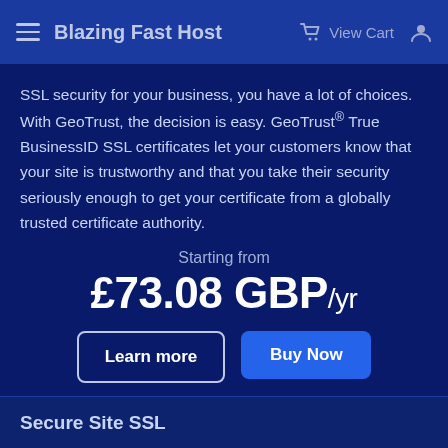Blazing Fast Host | View Cart
SSL security for your business, you have a lot of choices. With GeoTrust, the decision is easy. GeoTrust® True BusinessID SSL certificates let your customers know that your site is trustworthy and that you take their security seriously enough to get your certificate from a globally trusted certificate authority.
Starting from
£73.08 GBP/yr
Learn more | Buy Now
Secure Site SSL